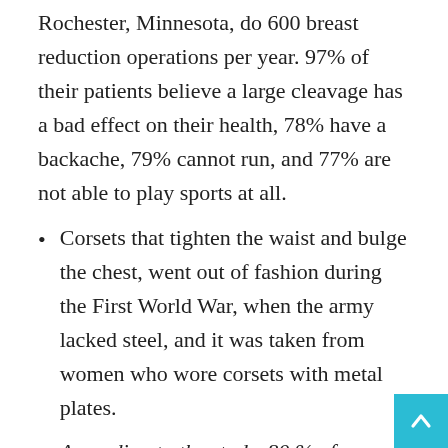Rochester, Minnesota, do 600 breast reduction operations per year. 97% of their patients believe a large cleavage has a bad effect on their health, 78% have a backache, 79% cannot run, and 77% are not able to play sports at all.
Corsets that tighten the waist and bulge the chest, went out of fashion during the First World War, when the army lacked steel, and it was taken from women who wore corsets with metal plates.
According to the study, 80 % of women wear an unsuitable bra size, which can lead to back pain and digestive disorders.